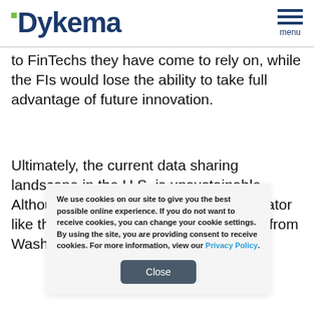Dykema menu
to FinTechs they have come to rely on, while the FIs would lose the ability to take full advantage of future innovation.
Ultimately, the current data sharing landscape in the U.S. is unsustainable. Although it may be best to have a regulator like the CFPB craft a solution, direction from Washington likely will not occur
We use cookies on our site to give you the best possible online experience. If you do not want to receive cookies, you can change your cookie settings. By using the site, you are providing consent to receive cookies. For more information, view our Privacy Policy.
Close